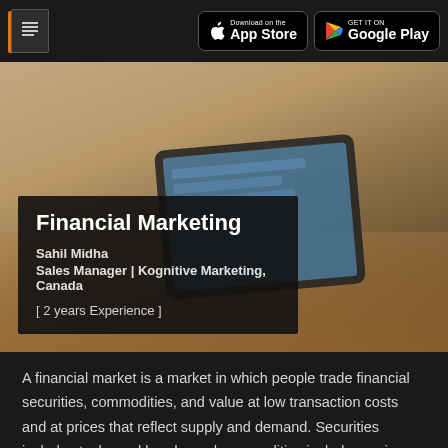Financial Marketing | App Store | Google Play
[Figure (photo): Business professionals reviewing financial charts on a tablet at a meeting table, with a man in the background]
Financial Marketing
Sahil Midha
Sales Manager | Kognitive Marketing, Canada
[ 2 years Experience ]
A financial market is a market in which people trade financial securities, commodities, and value at low transaction costs and at prices that reflect supply and demand. Securities include stocks and bonds, and commodities include precious metals or agricultural products.